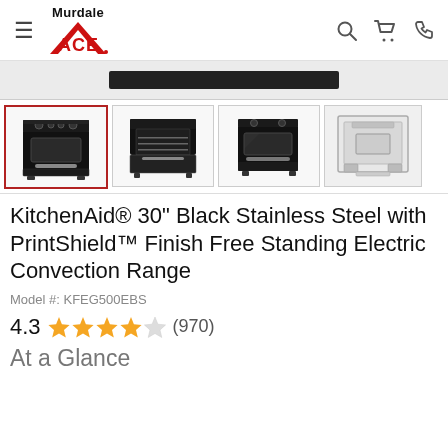Murdale ACE
[Figure (photo): Product image strip showing a black electric range - partial view with dark bar]
[Figure (photo): Thumbnail row of 4 product images of KitchenAid black stainless electric range: front view (selected), open oven view, side angle view, back/installation diagram]
KitchenAid® 30" Black Stainless Steel with PrintShield™ Finish Free Standing Electric Convection Range
Model #: KFEG500EBS
4.3 ★★★★☆ (970)
At a Glance